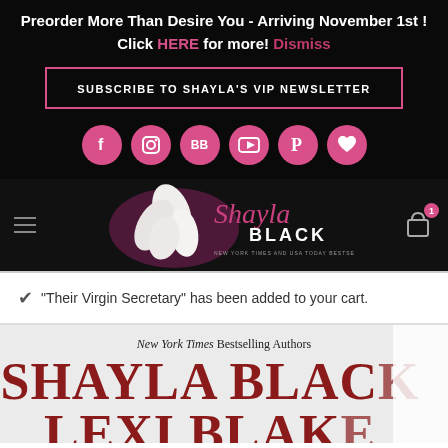Preorder More Than Desire You - Arriving November 1st! Click HERE for more! Dismiss
SUBSCRIBE TO SHAYLA'S VIP NEWSLETTER
[Figure (logo): Social media icons row: Facebook, Instagram, BB, YouTube, Pinterest, heart/Bookbub — pink circles]
[Figure (logo): Shayla Black author website logo with magnolia flower and cursive Shayla Black text, NEW YORK TIMES AND USA TODAY BESTSELLING AUTHOR tagline. Hamburger menu left, shopping cart with badge '1' right.]
✔ “Their Virgin Secretary” has been added to your cart.
[Figure (photo): Book cover showing 'New York Times Bestselling Authors' subtitle, large dark red text 'SHAYLA BLACK' and 'LEXI BLAKE' partially visible]